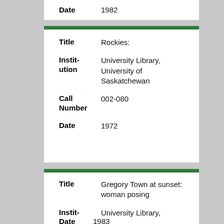| Field | Value |
| --- | --- |
| Date | 1982 |
| Field | Value |
| --- | --- |
| Title | Rockies: |
| Institution | University Library, University of Saskatchewan |
| Call Number | 002-080 |
| Date | 1972 |
| Field | Value |
| --- | --- |
| Title | Gregory Town at sunset: woman posing |
| Institution | University Library, University of Saskatchewan |